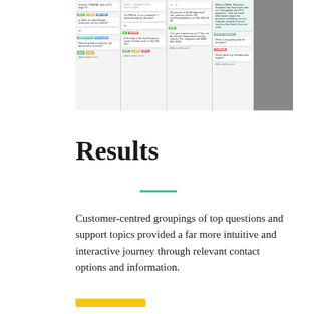[Figure (screenshot): Screenshot of a Trello-like kanban board with four columns of cards showing customer support questions with colored tags. A dark gray panel appears on the right.]
Results
Customer-centred groupings of top questions and support topics provided a far more intuitive and interactive journey through relevant contact options and information.